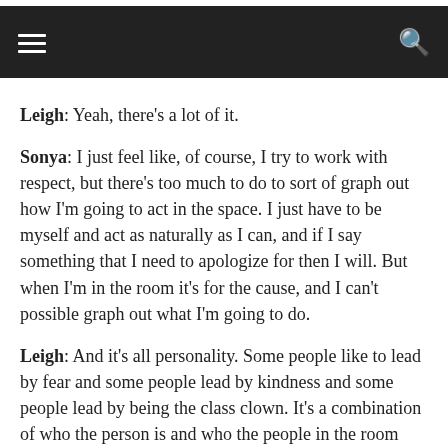navigation bar with hamburger menu and search icon
Leigh: Yeah, there's a lot of it.
Sonya: I just feel like, of course, I try to work with respect, but there's too much to do to sort of graph out how I'm going to act in the space. I just have to be myself and act as naturally as I can, and if I say something that I need to apologize for then I will. But when I'm in the room it's for the cause, and I can't possible graph out what I'm going to do.
Leigh: And it's all personality. Some people like to lead by fear and some people lead by kindness and some people lead by being the class clown. It's a combination of who the person is and who the people in the room are, and I think the struggle for authority can be a real one and a real difficult one. I